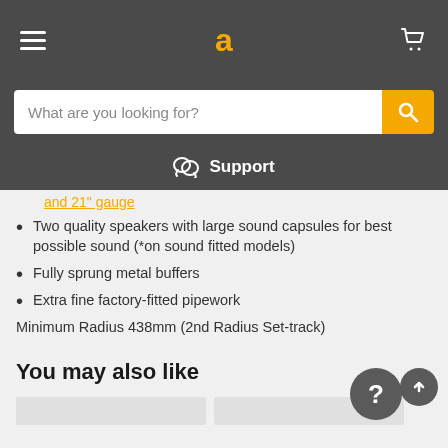Navigation bar with hamburger menu, logo 'a', and cart icon
What are you looking for?
Support
and 21" gauge
Two quality speakers with large sound capsules for best possible sound (*on sound fitted models)
Fully sprung metal buffers
Extra fine factory-fitted pipework
Minimum Radius 438mm (2nd Radius Set-track)
You may also like